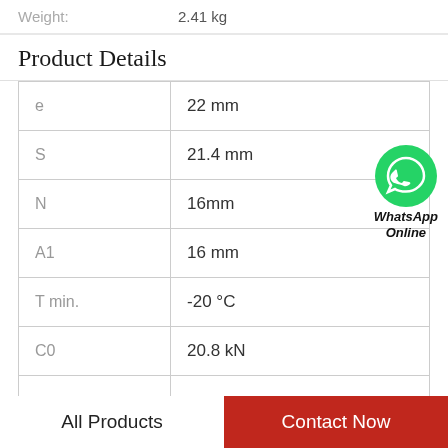Weight: 2.41 kg
Product Details
| e | 22 mm |
| S | 21.4 mm |
| N | 16mm |
| A1 | 16 mm |
| T min. | -20 °C |
| C0 | 20.8 kN |
|  |  |
[Figure (logo): WhatsApp Online green phone icon with text 'WhatsApp Online']
All Products
Contact Now